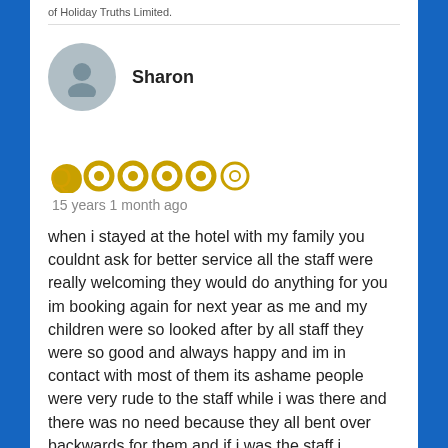of Holiday Truths Limited.
Sharon
[Figure (illustration): User avatar circle with person silhouette icon in grey]
[Figure (other): 4.5 star rating icons in gold/yellow]
15 years 1 month ago
when i stayed at the hotel with my family you couldnt ask for better service all the staff were really welcoming they would do anything for you im booking again for next year as me and my children were so looked after by all staff they were so good and always happy and im in contact with most of them its ashame people were very rude to the staff while i was there and there was no need because they all bent over backwards for them and if i was the staff i wouldnt be so friendly
the rooms are cleaned on daily bases well all the place is cleaned daily so these people who have moaned and critisied the hotel are just being so snobish you make